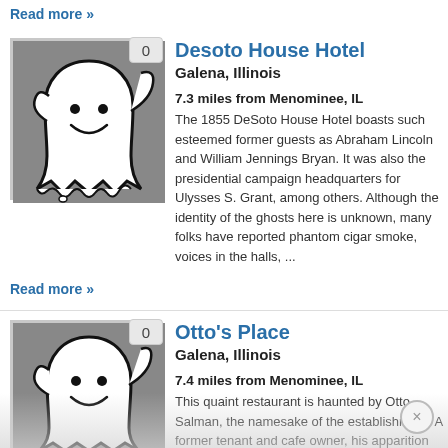Read more »
[Figure (illustration): Ghost cartoon illustration on grey background with badge showing '0']
Desoto House Hotel
Galena, Illinois
7.3 miles from Menominee, IL
The 1855 DeSoto House Hotel boasts such esteemed former guests as Abraham Lincoln and William Jennings Bryan. It was also the presidential campaign headquarters for Ulysses S. Grant, among others. Although the identity of the ghosts here is unknown, many folks have reported phantom cigar smoke, voices in the halls, ...
Read more »
[Figure (illustration): Ghost cartoon illustration on grey background with badge showing '0']
Otto's Place
Galena, Illinois
7.4 miles from Menominee, IL
This quaint restaurant is haunted by Otto Salman, the namesake of the establishment. A former tenant and cafe owner, his apparition has been seen walking the railroad tracks